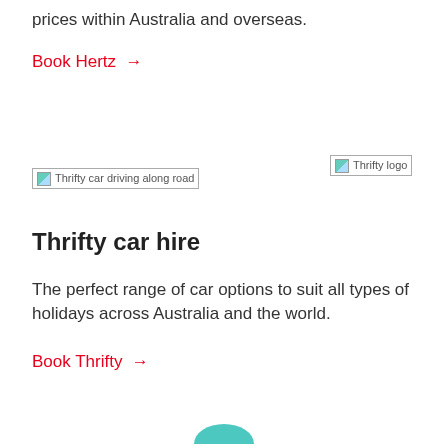prices within Australia and overseas.
Book Hertz →
[Figure (photo): Thrifty car driving along road — broken image placeholder]
[Figure (logo): Thrifty logo — broken image placeholder]
Thrifty car hire
The perfect range of car options to suit all types of holidays across Australia and the world.
Book Thrifty →